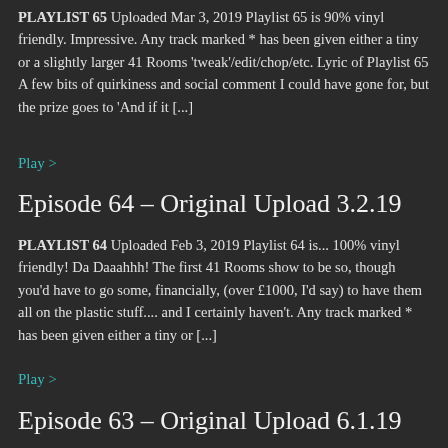PLAYLIST 65  Uploaded Mar 3, 2019 Playlist 65 is 90% vinyl friendly. Impressive. Any track marked * has been given either a tiny or a slightly larger 41 Rooms 'tweak'/edit/chop/etc. Lyric of Playlist 65 A few bits of quirkiness and social comment I could have gone for, but the prize goes to 'And if it [...]
Play >
Episode 64 – Original Upload 3.2.19
PLAYLIST 64  Uploaded Feb 3, 2019 Playlist 64 is... 100% vinyl friendly! Da Daaahhh! The first 41 Rooms show to be so, though you'd have to go some, financially, (over £1000, I'd say) to have them all on the plastic stuff.... and I certainly haven't. Any track marked * has been given either a tiny or [...]
Play >
Episode 63 – Original Upload 6.1.19
PLAYLIST 63  Uploaded Jan ...  Playlist 63 is... 8% vinyl friendly...